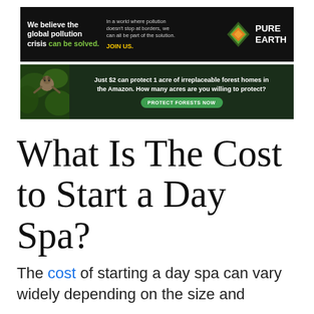[Figure (infographic): Pure Earth advertisement banner: black background with white bold text 'We believe the global pollution crisis can be solved.' (with 'can be solved.' in green), middle text 'In a world where pollution doesn't stop at borders, we can all be part of the solution.' with yellow 'JOIN US.' call to action, and Pure Earth logo with orange/green diamond icon on right.]
[Figure (infographic): Amazon forest protection advertisement banner: dark green background with photo of a sloth on left, white bold text 'Just $2 can protect 1 acre of irreplaceable forest homes in the Amazon. How many acres are you willing to protect?' and a green 'PROTECT FORESTS NOW' button.]
What Is The Cost to Start a Day Spa?
The cost of starting a day spa can vary widely depending on the size and